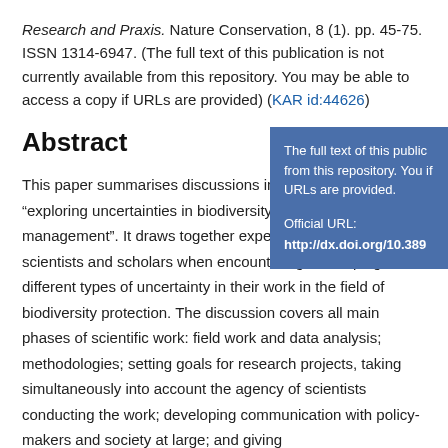Research and Praxis. Nature Conservation, 8 (1). pp. 45-75. ISSN 1314-6947. (The full text of this publication is not currently available from this repository. You may be able to access a copy if URLs are provided) (KAR id:44626)
Abstract
[Figure (other): Blue box with text: 'The full text of this public from this repository. You if URLs are provided. Official URL: http://dx.doi.org/10.389']
This paper summarises discussions in a workshop entitled “exploring uncertainties in biodiversity science, policy and management”. It draws together experiences gained by scientists and scholars when encountering and coping with different types of uncertainty in their work in the field of biodiversity protection. The discussion covers all main phases of scientific work: field work and data analysis; methodologies; setting goals for research projects, taking simultaneously into account the agency of scientists conducting the work; developing communication with policy-makers and society at large; and giving